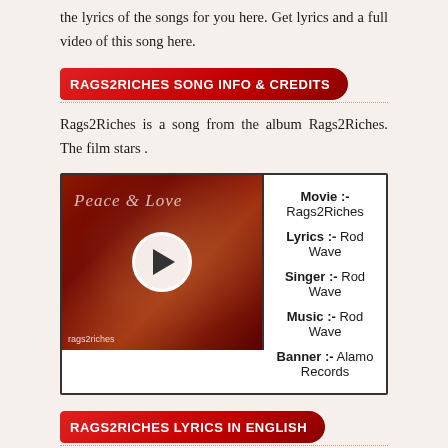the lyrics of the songs for you here. Get lyrics and a full video of this song here.
RAGS2RICHES SONG INFO & CREDITS
Rags2Riches is a song from the album Rags2Riches. The film stars .
[Figure (screenshot): Video thumbnail showing a red-themed album art with cursive text 'Peace Love' and a play button overlay. Bottom left shows 'rags2riches' text. Right side shows song credits: Movie: Rags2Riches, Lyrics: Rod Wave, Singer: Rod Wave, Music: Rod Wave, Banner: Alamo Records]
RAGS2RICHES LYRICS IN ENGLISH
(Yeah, Look)